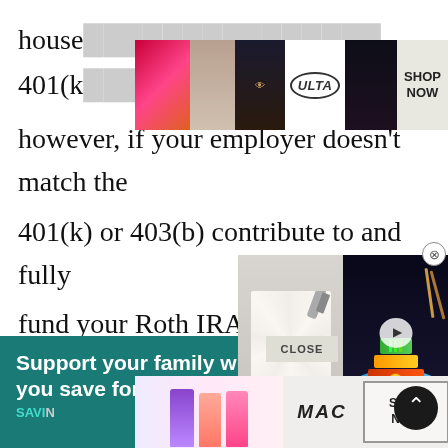household... 401(k) or...employer matches; however, if your employer doesn't match the 401(k) or 403(b) contribute to and fully fund your Roth IRA. Also, check your insurance. Are you cove... were to happen?
[Figure (photo): Ulta Beauty advertisement banner with makeup imagery (lips, brush, eyes) and SHOP NOW button]
[Figure (photo): Video overlay showing two cake decorating images with play button]
[Figure (photo): Teal advertisement: Support your family while you save for their future, with SAVING text and CLOSE button]
[Figure (photo): MAC cosmetics advertisement with lipsticks and SHOP NOW button]